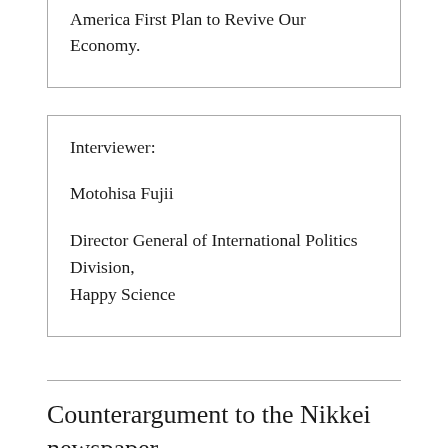America First Plan to Revive Our Economy.
Interviewer:

Motohisa Fujii

Director General of International Politics Division, Happy Science
Counterargument to the Nikkei newspaper